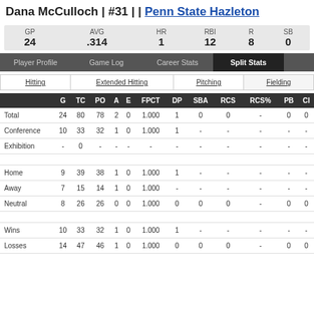Dana McCulloch | #31 | Penn State Hazleton
| GP | AVG | HR | RBI | R | SB |
| --- | --- | --- | --- | --- | --- |
| 24 | .314 | 1 | 12 | 8 | 0 |
Player Profile | Game Log | Career Stats | Split Stats
Hitting | Extended Hitting | Pitching | Fielding
|  | G | TC | PO | A | E | FPCT | DP | SBA | RCS | RCS% | PB | CI |
| --- | --- | --- | --- | --- | --- | --- | --- | --- | --- | --- | --- | --- |
| Total | 24 | 80 | 78 | 2 | 0 | 1.000 | 1 | 0 | 0 | - | 0 | 0 |
| Conference | 10 | 33 | 32 | 1 | 0 | 1.000 | 1 | - | - | - | - | - |
| Exhibition | - | 0 | - | - | - | - | - | - | - | - | - | - |
|  |  |  |  |  |  |  |  |  |  |  |  |  |
| Home | 9 | 39 | 38 | 1 | 0 | 1.000 | 1 | - | - | - | - | - |
| Away | 7 | 15 | 14 | 1 | 0 | 1.000 | - | - | - | - | - | - |
| Neutral | 8 | 26 | 26 | 0 | 0 | 1.000 | 0 | 0 | 0 | - | 0 | 0 |
|  |  |  |  |  |  |  |  |  |  |  |  |  |
| Wins | 10 | 33 | 32 | 1 | 0 | 1.000 | 1 | - | - | - | - | - |
| Losses | 14 | 47 | 46 | 1 | 0 | 1.000 | 0 | 0 | 0 | - | 0 | 0 |